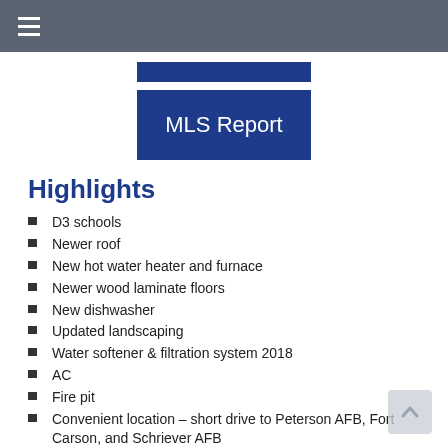≡
[Figure (other): Blue rectangle button (partial, cropped at top)]
[Figure (other): Blue rectangle button labeled MLS Report]
Highlights
D3 schools
Newer roof
New hot water heater and furnace
Newer wood laminate floors
New dishwasher
Updated landscaping
Water softener & filtration system 2018
AC
Fire pit
Convenient location – short drive to Peterson AFB, Fort Carson, and Schriever AFB